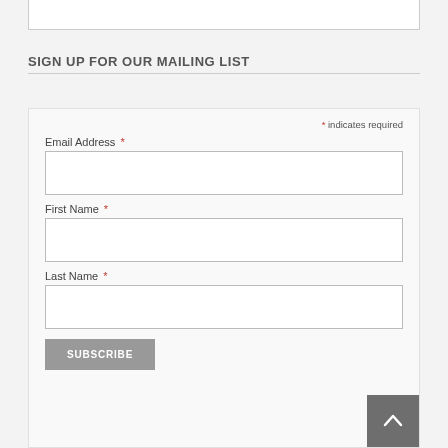SIGN UP FOR OUR MAILING LIST
* indicates required
Email Address *
First Name *
Last Name *
SUBSCRIBE